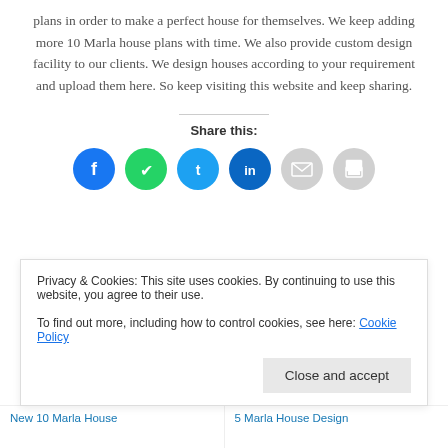plans in order to make a perfect house for themselves. We keep adding more 10 Marla house plans with time. We also provide custom design facility to our clients. We design houses according to your requirement and upload them here. So keep visiting this website and keep sharing.
Share this:
[Figure (other): Social share buttons: Facebook (blue), WhatsApp (green), Twitter (cyan), LinkedIn (dark blue), Email (gray), Print (gray)]
Privacy & Cookies: This site uses cookies. By continuing to use this website, you agree to their use.
To find out more, including how to control cookies, see here: Cookie Policy
Close and accept
New 10 Marla House
5 Marla House Design